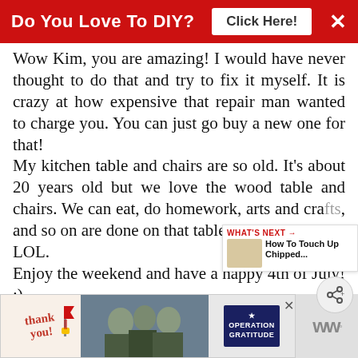Do You Love To DIY? Click Here!
Wow Kim, you are amazing! I would have never thought to do that and try to fix it myself. It is crazy at how expensive that repair man wanted to charge you. You can just go buy a new one for that! My kitchen table and chairs are so old. It's about 20 years old but we love the wood table and chairs. We can eat, do homework, arts and crafts, and so on are done on that table... LOL. Enjoy the weekend and have a happy 4th of July! :)
[Figure (screenshot): Bottom advertisement banner for Operation Gratitude with 'Thank you' text and military imagery]